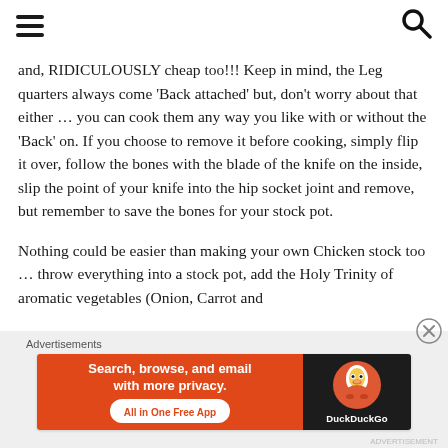[hamburger menu] [search icon]
and, RIDICULOUSLY cheap too!!! Keep in mind, the Leg quarters always come 'Back attached' but, don't worry about that either … you can cook them any way you like with or without the 'Back' on. If you choose to remove it before cooking, simply flip it over, follow the bones with the blade of the knife on the inside, slip the point of your knife into the hip socket joint and remove, but remember to save the bones for your stock pot.
Nothing could be easier than making your own Chicken stock too … throw everything into a stock pot, add the Holy Trinity of aromatic vegetables (Onion, Carrot and
[Figure (screenshot): DuckDuckGo advertisement banner: orange left side with text 'Search, browse, and email with more privacy. All in One Free App', dark right side with DuckDuckGo duck logo and brand name.]